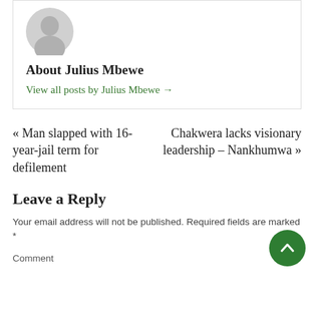[Figure (illustration): Grey avatar/profile silhouette icon placeholder]
About Julius Mbewe
View all posts by Julius Mbewe →
« Man slapped with 16-year-jail term for defilement
Chakwera lacks visionary leadership – Nankhumwa »
Leave a Reply
Your email address will not be published. Required fields are marked *
Comment